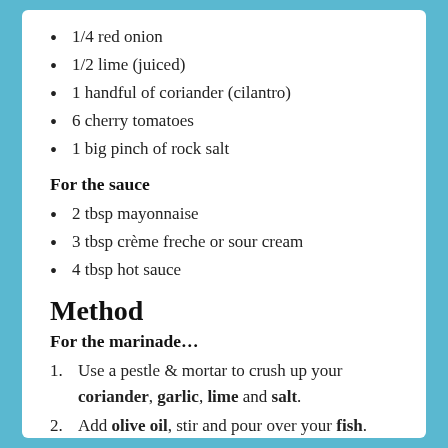1/4 red onion
1/2 lime (juiced)
1 handful of coriander (cilantro)
6 cherry tomatoes
1 big pinch of rock salt
For the sauce
2 tbsp mayonnaise
3 tbsp crème freche or sour cream
4 tbsp hot sauce
Method
For the marinade…
Use a pestle & mortar to crush up your coriander, garlic, lime and salt.
Add olive oil, stir and pour over your fish.
Flip them around in the marinade and leave…